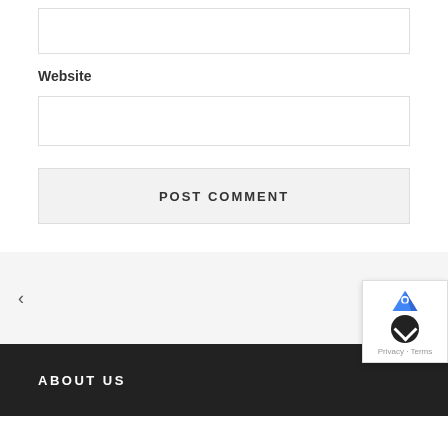[Figure (screenshot): Empty text input box (email or name field)]
Website
[Figure (screenshot): Empty website input box]
POST COMMENT
< (left navigation arrow)
> (right navigation arrow)
ABOUT US
[Figure (screenshot): reCAPTCHA widget with Google logo, dark circle with up chevron, and Privacy/Terms links]